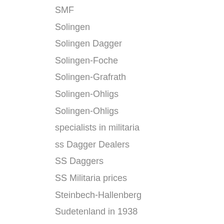SMF
Solingen
Solingen Dagger
Solingen-Foche
Solingen-Grafrath
Solingen-Ohligs
Solingen-Ohligs
specialists in militaria
ss Dagger Dealers
SS Daggers
SS Militaria prices
Steinbech-Hallenberg
Sudetenland in 1938
Suhl
T.E.N.O.